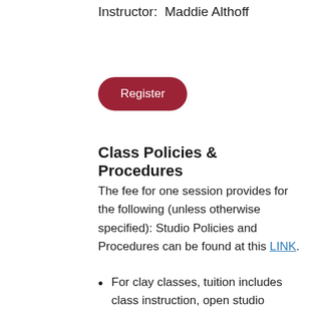Instructor:  Maddie Althoff
[Figure (other): Red rounded rectangle Register button]
Class Policies & Procedures
The fee for one session provides for the following (unless otherwise specified): Studio Policies and Procedures can be found at this LINK.
For clay classes, tuition includes class instruction, open studio access, access to glazes and shelf space. Clay Students are